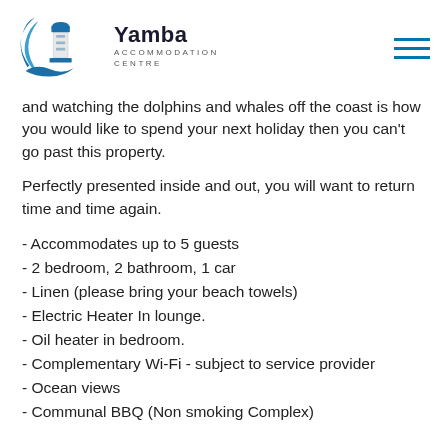Yamba Accommodation Centre
and watching the dolphins and whales off the coast is how you would like to spend your next holiday then you can't go past this property.
Perfectly presented inside and out, you will want to return time and time again.
- Accommodates up to 5 guests
- 2 bedroom, 2 bathroom, 1 car
- Linen (please bring your beach towels)
- Electric Heater In lounge.
- Oil heater in bedroom.
- Complementary Wi-Fi - subject to service provider
- Ocean views
- Communal BBQ (Non smoking Complex)